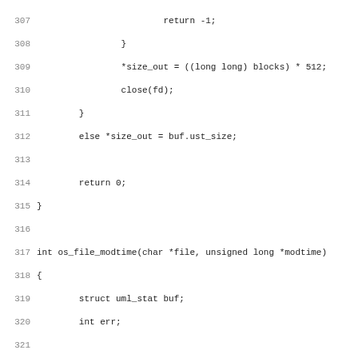Source code listing lines 307-339, C programming language code showing functions os_file_modtime and os_get_exec_close